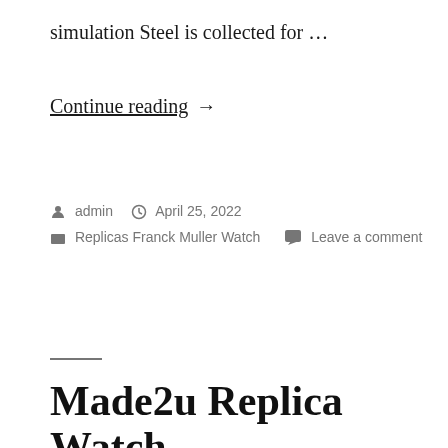simulation Steel is collected for …
Continue reading →
By admin   April 25, 2022   Replicas Franck Muller Watch   Leave a comment
Made2u Replica Watch